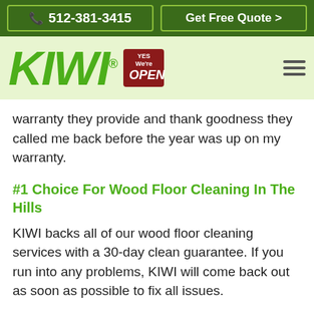512-381-3415 | Get Free Quote >
[Figure (logo): KIWI logo with registered trademark symbol and YES We're OPEN badge, plus hamburger menu icon on dark green background]
warranty they provide and thank goodness they called me back before the year was up on my warranty.
#1 Choice For Wood Floor Cleaning In The Hills
KIWI backs all of our wood floor cleaning services with a 30-day clean guarantee. If you run into any problems, KIWI will come back out as soon as possible to fix all issues.
Call Us Today!